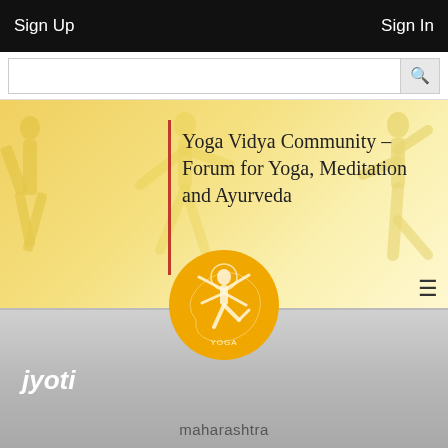Sign Up   Sign In
[Figure (screenshot): Search bar with magnifying glass icon]
Yoga Vidya Community – Forum for Yoga, Meditation and Ayurveda
[Figure (logo): Circular orange logo with Nataraja (dancing Shiva) figure and text 'YOGA']
jyoti
maharashtra